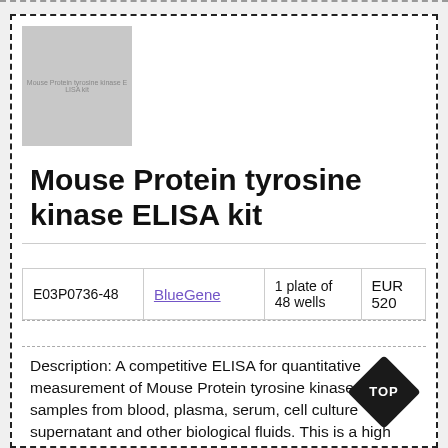[Figure (photo): Product image placeholder for Mouse Protein tyrosine kinase ELISA kit with watermark text]
Mouse Protein tyrosine kinase ELISA kit
|  |  |  |  |
| --- | --- | --- | --- |
| E03P0736-48 | BlueGene | 1 plate of 48 wells | EUR 520 |
Description: A competitive ELISA for quantitative measurement of Mouse Protein tyrosine kinase in samples from blood, plasma, serum, cell culture supernatant and other biological fluids. This is a high quality ELISA kit developped for optimal performance with samples from the particular species.